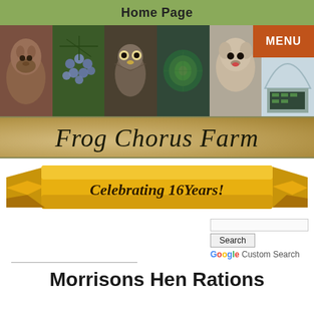Home Page
[Figure (photo): Navigation menu button labeled MENU on orange background]
[Figure (photo): Strip of six farm photos: horse face, blue berries, barred owl, cabbage, fluffy dog, greenhouse with seedlings]
[Figure (illustration): Sandy textured banner with farm name 'Frog Chorus Farm' in italic serif font]
[Figure (illustration): Gold ribbon banner with text 'Celebrating 16 Years!']
[Figure (screenshot): Google Custom Search box with Search button and Google Custom Search label]
Morrisons Hen Rations